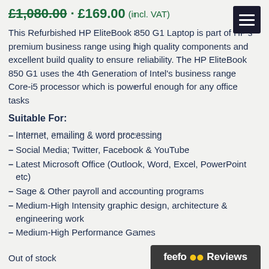£1,080.00 · £169.00 (incl. VAT)
This Refurbished HP EliteBook 850 G1 Laptop is part of HP's premium business range using high quality components and excellent build quality to ensure reliability. The HP EliteBook 850 G1 uses the 4th Generation of Intel's business range Core-i5 processor which is powerful enough for any office tasks
Suitable For:
Internet, emailing & word processing
Social Media; Twitter, Facebook & YouTube
Latest Microsoft Office (Outlook, Word, Excel, PowerPoint etc)
Sage & Other payroll and accounting programs
Medium-High Intensity graphic design, architecture & engineering work
Medium-High Performance Games
Out of stock